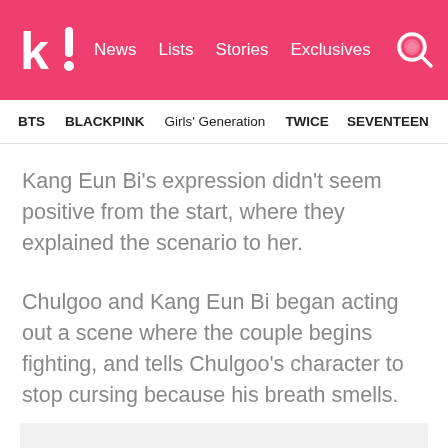k! News Lists Stories Exclusives
BTS  BLACKPINK  Girls' Generation  TWICE  SEVENTEEN
Kang Eun Bi's expression didn't seem positive from the start, where they explained the scenario to her.
Chulgoo and Kang Eun Bi began acting out a scene where the couple begins fighting, and tells Chulgoo's character to stop cursing because his breath smells.
[Figure (other): Gray placeholder image box at the bottom of the page]